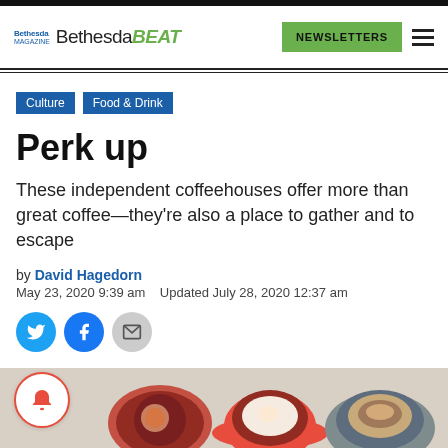Bethesda Bethesda BEAT | NEWSLETTERS
Culture
Food & Drink
Perk up
These independent coffeehouses offer more than great coffee—they're also a place to gather and to escape
by David Hagedorn
May 23, 2020 9:39 am   Updated July 28, 2020 12:37 am
[Figure (photo): Coffee cups photo strip at the bottom of the page showing various coffee drinks in red, blue and grey cups]